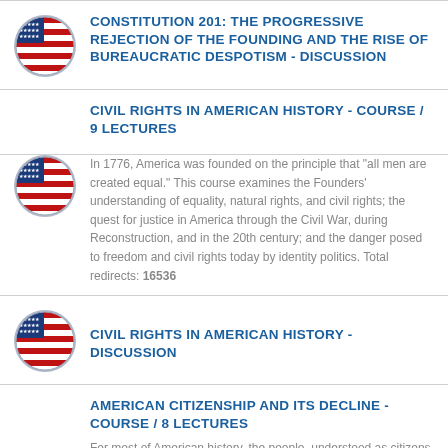CONSTITUTION 201: THE PROGRESSIVE REJECTION OF THE FOUNDING AND THE RISE OF BUREAUCRATIC DESPOTISM - DISCUSSION
CIVIL RIGHTS IN AMERICAN HISTORY - COURSE / 9 LECTURES
In 1776, America was founded on the principle that "all men are created equal." This course examines the Founders' understanding of equality, natural rights, and civil rights; the quest for justice in America through the Civil War, during Reconstruction, and in the 20th century; and the danger posed to freedom and civil rights today by identity politics. Total redirects: 16536
CIVIL RIGHTS IN AMERICAN HISTORY - DISCUSSION
AMERICAN CITIZENSHIP AND ITS DECLINE - COURSE / 8 LECTURES
For most of American history, the people, understood as citizens, have ruled through elected representatives under the terms of the Constitution. Today, the prevailing view is that...